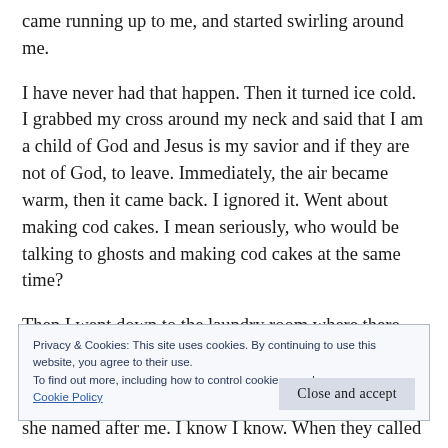came running up to me, and started swirling around me.
I have never had that happen. Then it turned ice cold. I grabbed my cross around my neck and said that I am a child of God and Jesus is my savior and if they are not of God, to leave. Immediately, the air became warm, then it came back. I ignored it. Went about making cod cakes. I mean seriously, who would be talking to ghosts and making cod cakes at the same time?
Then I went down to the laundry room where there are
Privacy & Cookies: This site uses cookies. By continuing to use this website, you agree to their use.
To find out more, including how to control cookies, see here:
Cookie Policy
[Close and accept]
she named after me. I know I know. When they called